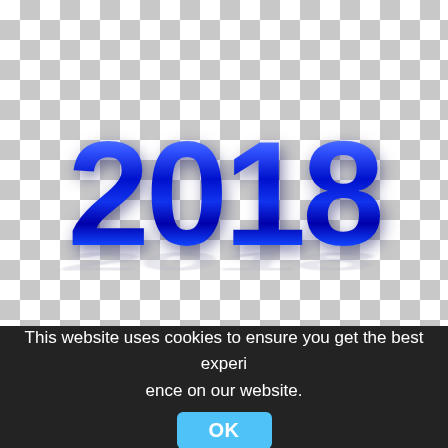[Figure (illustration): Checkered (transparent) background with a large 3D-style glossy blue '2018' text centered in the upper portion of the image, with a subtle shadow beneath the digits.]
This website uses cookies to ensure you get the best experience on our website.
OK